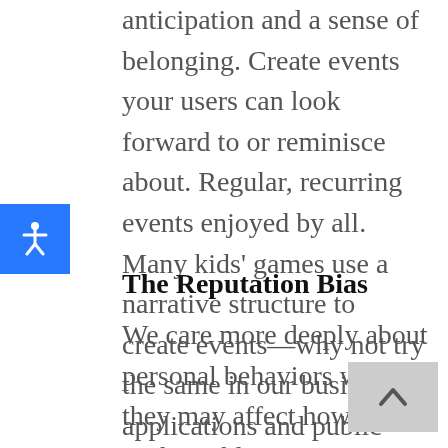anticipation and a sense of belonging. Create events your users can look forward to or reminisce about. Regular, recurring events enjoyed by all. Many kids' games use a narrative structure to create events—why not try the same in our business applications and public websites? Consider ways that all users or groups within a system could enjoy shared recurring experiences.
The Reputation Bias
We care more deeply about personal behaviors when they may affect how peers or the public perceive us. Create actions that are tied back to a profile or an identifying piece of information. In online